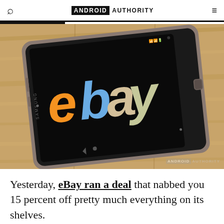ANDROID AUTHORITY
[Figure (photo): Samsung tablet lying on a wooden surface displaying the eBay logo on its screen. The eBay logo shows 'e' in orange, 'b' in blue, 'a' in beige/tan, and 'y' in green. An Android Authority watermark is visible in the bottom right corner of the image.]
Yesterday, eBay ran a deal that nabbed you 15 percent off pretty much everything on its shelves.